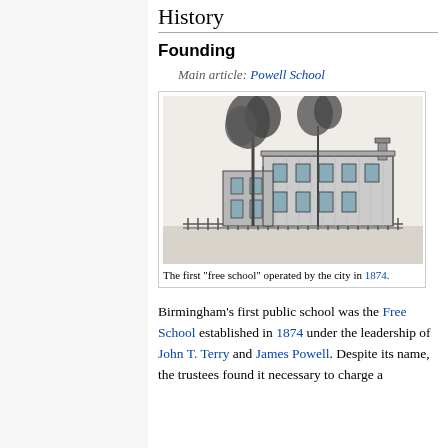History
Founding
Main article: Powell School
[Figure (illustration): Black and white sketch of the first free school building operated by the city in 1874, showing a two-story building with trees behind a fence.]
The first "free school" operated by the city in 1874.
Birmingham's first public school was the Free School established in 1874 under the leadership of John T. Terry and James Powell. Despite its name, the trustees found it necessary to charge a